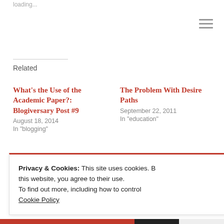loading...
Related
What’s the Use of the Academic Paper?: Blogiversary Post #9
August 18, 2014
In "blogging"
The Problem With Desire Paths
September 22, 2011
In "education"
Top 10 Posts of 2011
January 9, 2012
In "blogging"
Privacy & Cookies: This site uses cookies. By continuing to use this website, you agree to their use. To find out more, including how to control cookies, see here: Cookie Policy
Close and accept